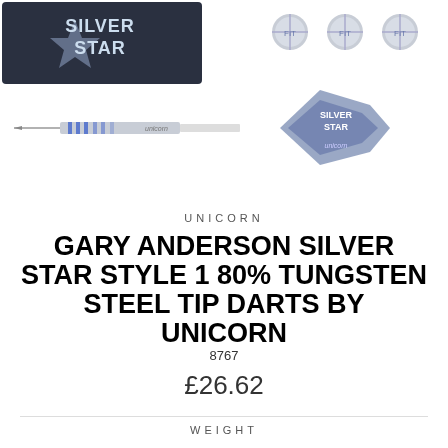[Figure (photo): Product images of Unicorn Gary Anderson Silver Star darts — top-left shows Silver Star branded packaging with dark background and star logo, top-right shows three silver dart barrel tips/tops, center shows a full dart assembly (silver barrel with blue ring accents and Unicorn branding) pointing left with Silver Star branded flight on the right.]
UNICORN
GARY ANDERSON SILVER STAR STYLE 1 80% TUNGSTEN STEEL TIP DARTS BY UNICORN
8767
£26.62
WEIGHT